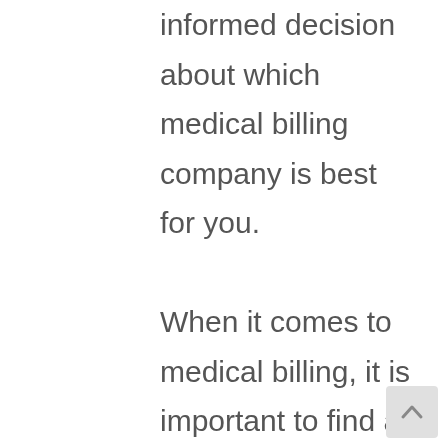informed decision about which medical billing company is best for you.

When it comes to medical billing, it is important to find a company that offers a variety of services. Some medical billing companies only offer medical coding, while others may offer medical coding and medical billing. You will want to find a medical billing company that can provide both services so that you